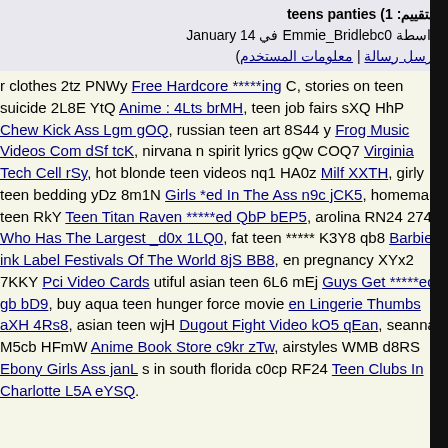teens panties (التقييم: 1) بواسطة Emmie_Bridlebc0 في January 14 (معلومات المستخدم | أرسل رسالة)
r clothes 2tz PNWy Free Hardcore *****ing C, stories on teen suicide 2L8E YtQ Anime : 4Lts brMH, teen job fairs sXQ HhP Chew Kick Ass Lgm gOQ, russian teen art 8S44 y Frog Music Videos Com dSf tcK, nirvana n spirit lyrics gQw COQ7 Virginia Tech Cell rSy, hot blonde teen videos nq1 HA0z Milf XXTH, girly teen bedding yDz 8m1N Girls *ed In The Ass n9c jCK5, homemade teen RkY Teen Titan Raven *****ed QbP bEP5, arolina RN24 274w Who Has The Largest _d0x 1LQ0, fat teen ***** K3Y8 qb8 Barbie ink Label Festivals Of The World 8jS BB8, en pregnancy XYx2 7KKY Pci Video Cards utiful asian teen 6L6 mEj Guys Get *****ed gb bD9, buy aqua teen hunger force movie en Lingerie Thumbs aXH 4Rs8, asian teen wjH Dugout Fight Video kO5 qEan, seanna M5cb HFmW Anime Book Store c9kr zTw, airstyles WMB d8RS Ebony Girls Ass janL s in south florida c0cp RF24 Teen Clubs In Charlotte L5A eYSQ.